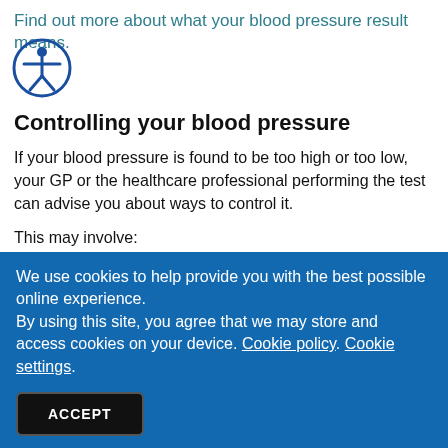Find out more about what your blood pressure result means.
[Figure (illustration): Accessibility icon — a person with arms outstretched inside a blue circle outline]
Controlling your blood pressure
If your blood pressure is found to be too high or too low, your GP or the healthcare professional performing the test can advise you about ways to control it.
This may involve:
adopting a healthy, balanced diet and restricting your salt
We use cookies to help provide you with the best possible online experience.
By using this site, you agree that we may store and access cookies on your device. Cookie policy. Cookie settings.
ACCEPT